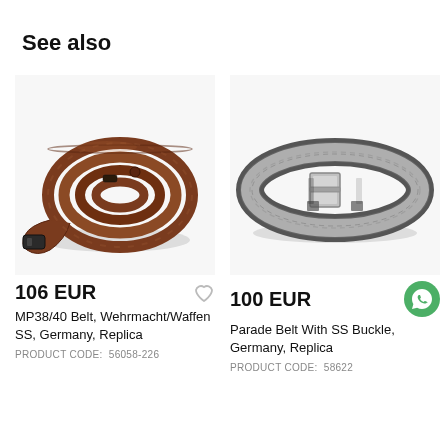See also
[Figure (photo): Brown leather MP38/40 belt coiled up, showing buckle and strap details]
106 EUR
MP38/40 Belt, Wehrmacht/Waffen SS, Germany, Replica
PRODUCT CODE:  56058-226
[Figure (photo): Gray/silver parade belt with plain rectangular buckle, laid flat in a loop]
100 EUR
Parade Belt With SS Buckle, Germany, Replica
PRODUCT CODE:  58622